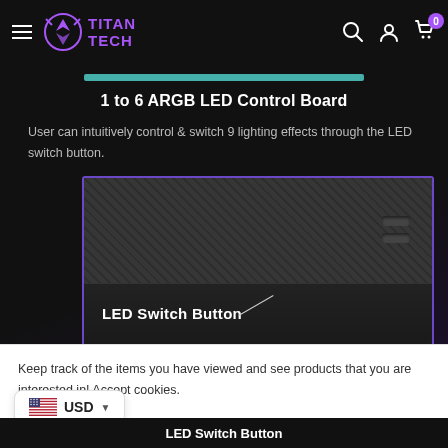Titan Tech — navigation bar with hamburger menu, logo, search, account, and cart (0)
1 to 6 ARGB LED Control Board
User can intuitively control & switch 9 lighting effects through the LED switch button.
[Figure (photo): Close-up photo of an ARGB LED control board showing a textured surface with an LED Switch Button labeled on a dark PCB, highlighted with a purple/blue border and teal accent bar at top. Background shows PC components.]
Keep track of the items you have viewed and see products that you are interested in! Accept cookies.
LED Switch Button